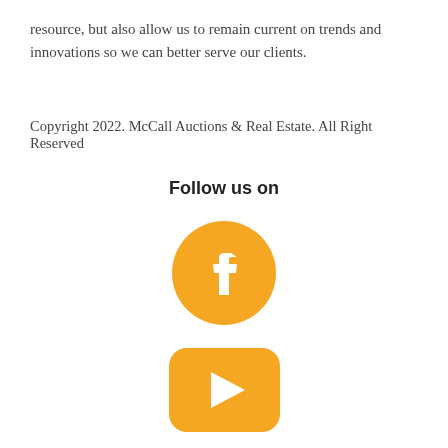resource, but also allow us to remain current on trends and innovations so we can better serve our clients.
Copyright 2022. McCall Auctions & Real Estate. All Right Reserved
Follow us on
[Figure (logo): Facebook logo — orange circle with white 'f' letterform]
[Figure (logo): YouTube logo — orange rounded rectangle with white play triangle]
[Figure (logo): LinkedIn logo — orange 'in' text with dot above 'i']